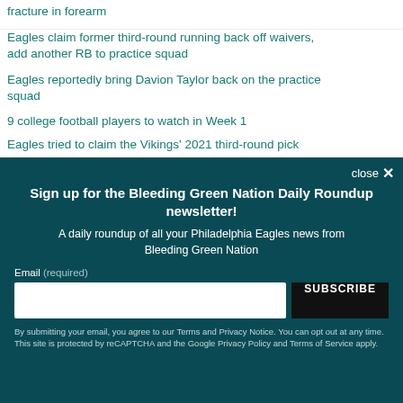fracture in forearm
Eagles claim former third-round running back off waivers, add another RB to practice squad
Eagles reportedly bring Davion Taylor back on the practice squad
9 college football players to watch in Week 1
Eagles tried to claim the Vikings' 2021 third-round pick
Sign up for the Bleeding Green Nation Daily Roundup newsletter!
A daily roundup of all your Philadelphia Eagles news from Bleeding Green Nation
Email (required)
By submitting your email, you agree to our Terms and Privacy Notice. You can opt out at any time. This site is protected by reCAPTCHA and the Google Privacy Policy and Terms of Service apply.